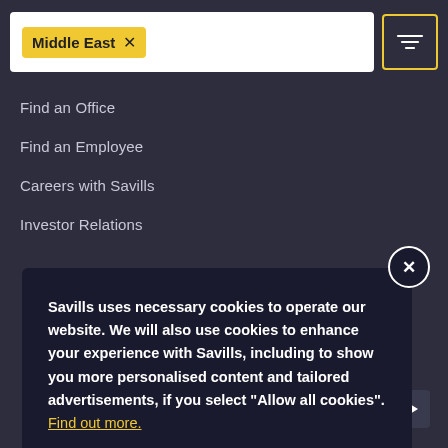[Figure (screenshot): Search bar with 'Middle East' tag pill and filter icon button with yellow border]
Find an Office
Find an Employee
Careers with Savills
Investor Relations
Savills uses necessary cookies to operate our website. We will also use cookies to enhance your experience with Savills, including to show you more personalised content and tailored advertisements, if you select “Allow all cookies”. Find out more.
Allow all cookies